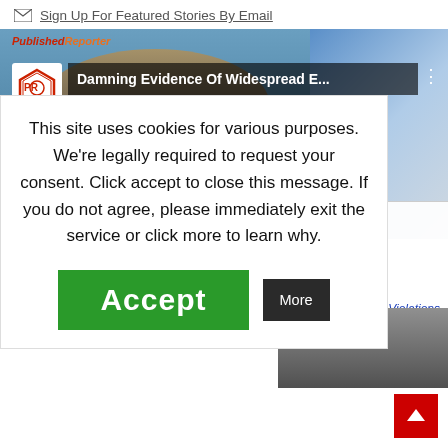Sign Up For Featured Stories By Email
[Figure (screenshot): Embedded video thumbnail showing a man speaking, with title 'Damning Evidence Of Widespread E...' and a play button overlay. The video is from PublishedReporter channel.]
This site uses cookies for various purposes. We're legally required to request your consent. Click accept to close this message. If you do not agree, please immediately exit the service or click more to learn why.
Accept
More
aud Violations
[Figure (screenshot): Partial lower video thumbnail.]